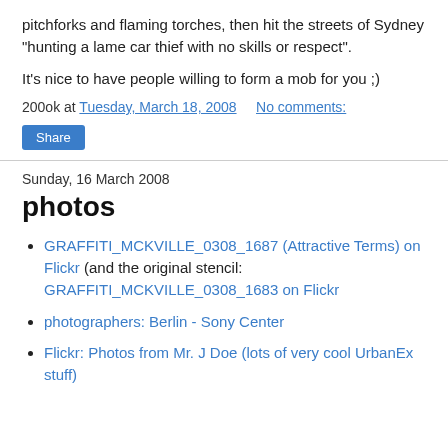pitchforks and flaming torches, then hit the streets of Sydney "hunting a lame car thief with no skills or respect".
It's nice to have people willing to form a mob for you ;)
200ok at Tuesday, March 18, 2008   No comments:
Share
Sunday, 16 March 2008
photos
GRAFFITI_MCKVILLE_0308_1687 (Attractive Terms) on Flickr (and the original stencil: GRAFFITI_MCKVILLE_0308_1683 on Flickr
photographers: Berlin - Sony Center
Flickr: Photos from Mr. J Doe (lots of very cool UrbanEx stuff)